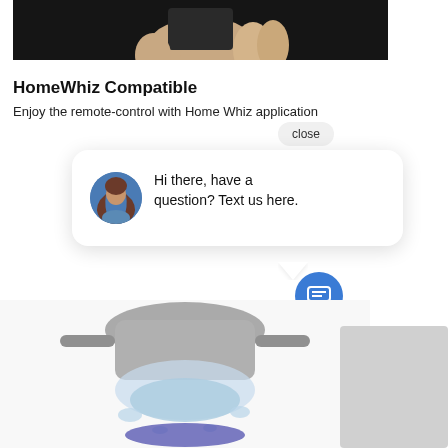[Figure (photo): A hand holding a small black rectangular device against a dark background]
HomeWhiz Compatible
Enjoy the remote-control with Home Whiz application
[Figure (screenshot): A chat popup widget showing a female avatar and text 'Hi there, have a question? Text us here.' with a close button and a blue chat FAB button]
[Figure (photo): A blender with water splashing out of the bottom, shown from below against a white background]